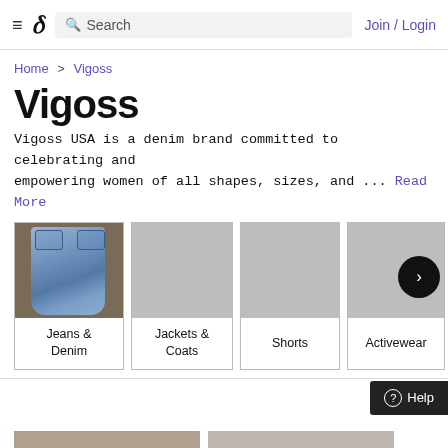≡  𝛿  Search   Join / Login
Home > Vigoss
Vigoss
Vigoss USA is a denim brand committed to celebrating and empowering women of all shapes, sizes, and ... Read More
[Figure (screenshot): Category cards row showing: Jeans & Denim (with photo of blue jeans), Jackets & Coats (grey placeholder), Shorts (grey placeholder), Activewear (grey placeholder), and a partially visible card with a right-arrow navigation button overlay]
152 item
[Figure (screenshot): Bottom strip showing two product thumbnail images partially visible]